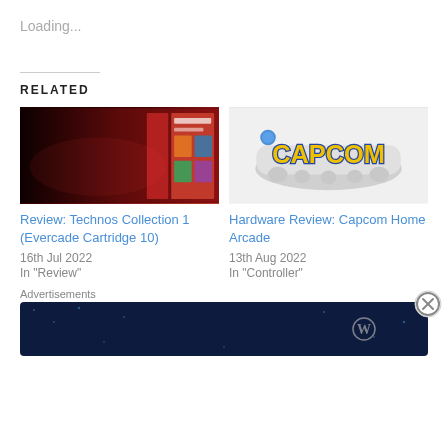Loading...
RELATED
[Figure (photo): Evercade cartridge box set with game covers on dark red background]
Review: Technos Collection 1 (Evercade Cartridge 10)
16th Jul 2022
In "Review"
[Figure (photo): Capcom Home Arcade device with Capcom logo in yellow and blue on white/gray body]
Hardware Review: Capcom Home Arcade
13th Aug 2022
In "Controller"
Advertisements
[Figure (screenshot): Dark navy blue advertisement banner reading 'Create surveys, polls, quizzes, and forms.' with WordPress and Crowdsignal icons]